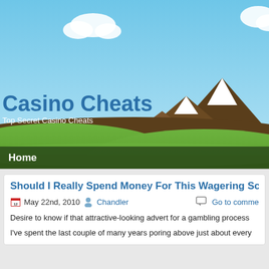[Figure (illustration): Website header banner showing a cartoon landscape with blue sky, white clouds, snow-capped mountains in the background, green grass hills in the foreground. White text reads 'Casino Cheats' as site title and 'Top Secret Casino Cheats' as subtitle.]
Casino Cheats
Top Secret Casino Cheats
Home
Should I Really Spend Money For This Wagering Scheme
May 22nd, 2010   Chandler   Go to comments
Desire to know if that attractive-looking advert for a gambling process
I've spent the last couple of many years poring above just about every